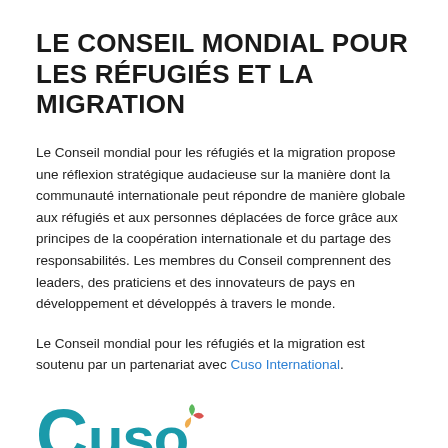LE CONSEIL MONDIAL POUR LES RÉFUGIÉS ET LA MIGRATION
Le Conseil mondial pour les réfugiés et la migration propose une réflexion stratégique audacieuse sur la manière dont la communauté internationale peut répondre de manière globale aux réfugiés et aux personnes déplacées de force grâce aux principes de la coopération internationale et du partage des responsabilités. Les membres du Conseil comprennent des leaders, des praticiens et des innovateurs de pays en développement et développés à travers le monde.
Le Conseil mondial pour les réfugiés et la migration est soutenu par un partenariat avec Cuso International.
[Figure (logo): Cuso International logo — large stylized 'CUSO' text in teal/blue with a colorful circular icon]